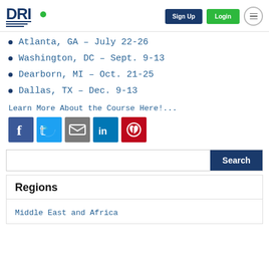[Figure (logo): DRI International logo with blue DRI text, green dot, and green 'International' text below]
Atlanta, GA – July 22-26
Washington, DC – Sept. 9-13
Dearborn, MI – Oct. 21-25
Dallas, TX – Dec. 9-13
Learn More About the Course Here!...
[Figure (infographic): Social share icons: Facebook, Twitter, Email, LinkedIn, Pinterest]
Search
Regions
Middle East and Africa